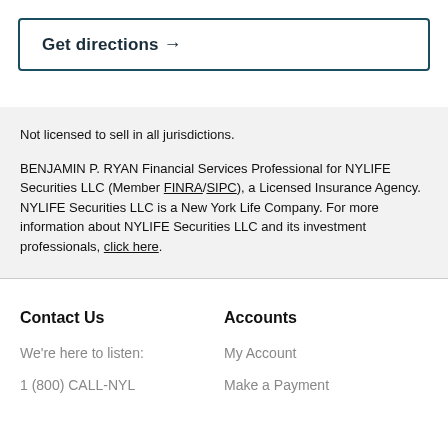Get directions →
Not licensed to sell in all jurisdictions.
BENJAMIN P. RYAN Financial Services Professional for NYLIFE Securities LLC (Member FINRA/SIPC), a Licensed Insurance Agency. NYLIFE Securities LLC is a New York Life Company. For more information about NYLIFE Securities LLC and its investment professionals, click here.
Contact Us
Accounts
We're here to listen:
My Account
1 (800) CALL-NYL
Make a Payment